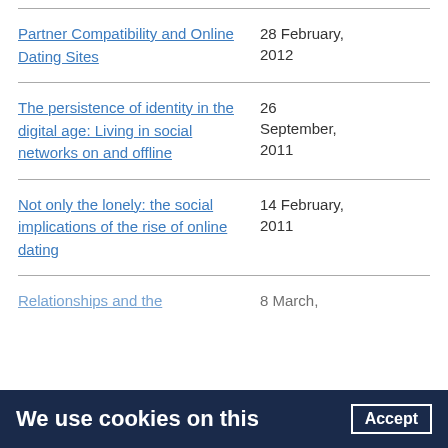Partner Compatibility and Online Dating Sites
The persistence of identity in the digital age: Living in social networks on and offline
Not only the lonely: the social implications of the rise of online dating
Relationships and the...
We use cookies on this